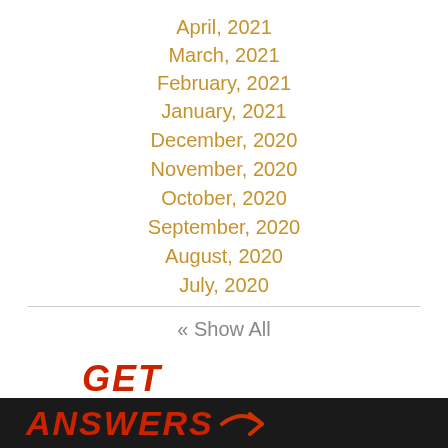April, 2021
March, 2021
February, 2021
January, 2021
December, 2020
November, 2020
October, 2020
September, 2020
August, 2020
July, 2020
« Show All
[Figure (logo): GET ANSWERS logo with red bold italic text on black banner with arrow graphic]